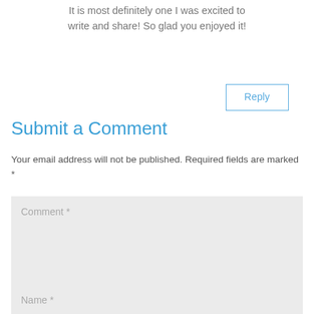It is most definitely one I was excited to write and share! So glad you enjoyed it!
Reply
Submit a Comment
Your email address will not be published. Required fields are marked *
Comment *
Name *